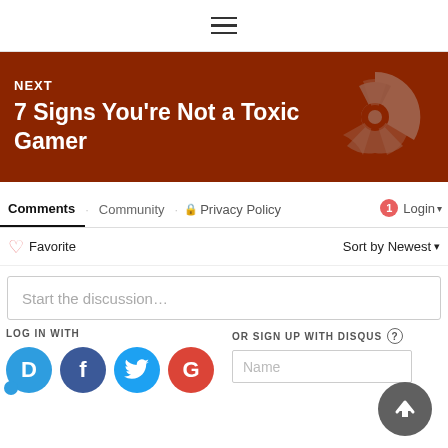☰ (hamburger menu icon)
[Figure (screenshot): Brown/rust colored banner with 'Next' label and title '7 Signs You're Not a Toxic Gamer' with a gray radiation symbol in the background]
Next
7 Signs You're Not a Toxic Gamer
Comments   Community   🔒 Privacy Policy   🔴 1   Login
♡ Favorite   Sort by Newest ▾
Start the discussion…
LOG IN WITH
OR SIGN UP WITH DISQUS ?
[Figure (screenshot): Social login icons: Disqus (D), Facebook (f), Twitter bird, Google (G) circles]
Name